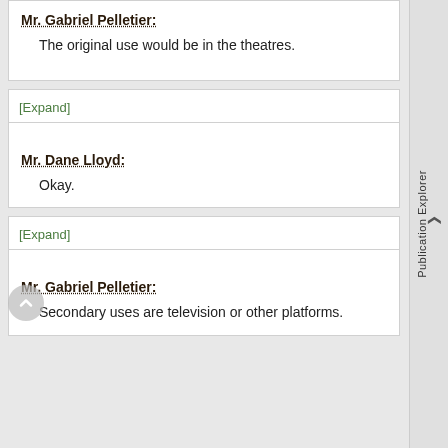Mr. Gabriel Pelletier:
The original use would be in the theatres.
[Expand]
Mr. Dane Lloyd:
Okay.
[Expand]
Mr. Gabriel Pelletier:
Secondary uses are television or other platforms.